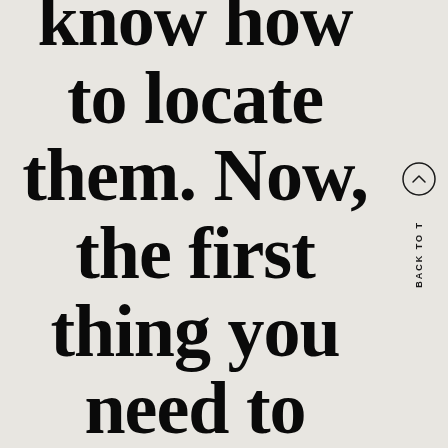know how to locate them. Now, the first thing you need to know is the